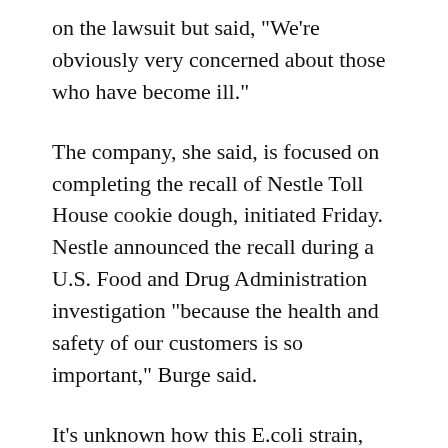on the lawsuit but said, "We're obviously very concerned about those who have become ill."
The company, she said, is focused on completing the recall of Nestle Toll House cookie dough, initiated Friday. Nestle announced the recall during a U.S. Food and Drug Administration investigation "because the health and safety of our customers is so important," Burge said.
It's unknown how this E.coli strain, one usually found in cattle manure, could have gotten into dough, but Marler speculated there could have been a contaminated ingredient, such as flour.
"That's pretty remarkable that it found its way into cookie dough," the attorney said. "A lot of Americans tend to eat cookie dough raw. It's pretty well-known, certainly in the industry, that people do consume cookie dough in that way."